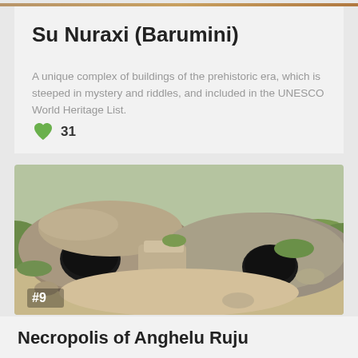Su Nuraxi (Barumini)
A unique complex of buildings of the prehistoric era, which is steeped in mystery and riddles, and included in the UNESCO World Heritage List.
❤ 31
[Figure (photo): Archaeological site showing ancient stone tombs/structures carved into rock with dark doorway openings, surrounded by grass and sandy soil. A label '#9' is visible in the lower left corner.]
Necropolis of Anghelu Ruju